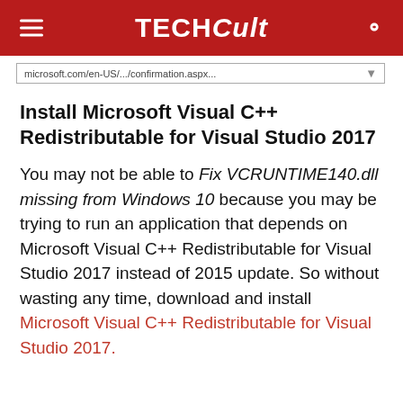TECHCult
[Figure (screenshot): Browser URL bar showing microsoft.com/en-US/.../confirmation.aspx...]
Install Microsoft Visual C++ Redistributable for Visual Studio 2017
You may not be able to Fix VCRUNTIME140.dll missing from Windows 10 because you may be trying to run an application that depends on Microsoft Visual C++ Redistributable for Visual Studio 2017 instead of 2015 update. So without wasting any time, download and install Microsoft Visual C++ Redistributable for Visual Studio 2017.